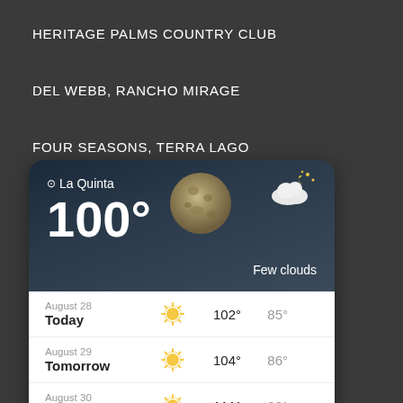HERITAGE PALMS COUNTRY CLUB
DEL WEBB, RANCHO MIRAGE
FOUR SEASONS, TERRA LAGO
[Figure (infographic): Weather widget for La Quinta showing current temperature of 100° with Few clouds condition, and a moon graphic. Dark blue-gray background. Below shows 3-day forecast: August 28 Today 102° 85°, August 29 Tomorrow 104° 86°, August 30 Tuesday 111° 90°. White card section with sunny icons.]